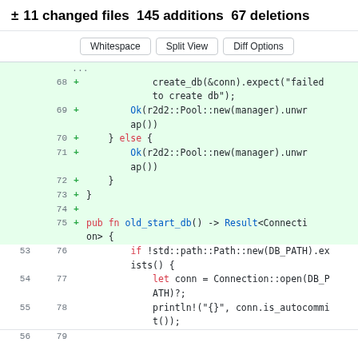± 11 changed files 145 additions 67 deletions
[Figure (screenshot): Git diff view showing code changes in Rust source file. Lines 68-78 are shown with line numbers, addition markers (+), and syntax-highlighted Rust code including create_db, Ok(r2d2::Pool::new), else blocks, pub fn old_start_db(), and Connection::open calls.]